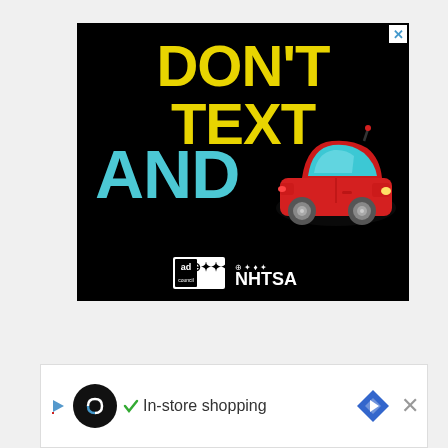[Figure (infographic): Public safety advertisement on black background. Large yellow bold text reads 'DON'T TEXT', large cyan bold text reads 'AND', followed by a red car emoji illustration. Ad Council and NHTSA logos at the bottom. Close button (X) in top right corner.]
[Figure (infographic): Bottom advertisement bar with a play icon, circular logo with infinity-like symbol, checkmark with 'In-store shopping' text, blue navigation/map icon, close X button, and partial 'W' logo. White background.]